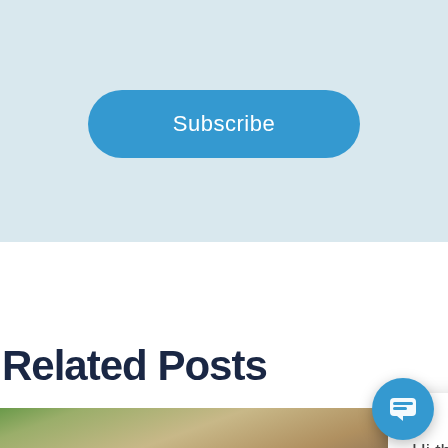[Figure (screenshot): Light blue/gray background section with a blue 'Subscribe' button (rounded pill shape)]
Subscribe
Related Posts
[Figure (photo): Blog post thumbnail showing 'Try Our Visual Journey:' in bold white text over a blurred restaurant/cafe background with green bar at top]
[Figure (screenshot): Live chat popup overlay showing avatar of a man in a suit, close X button, and message: 'Hi there! Welcome to OnPay Solutions. If you have questions, we'd love to help!']
Hi there! Welcome to OnPay Solutions. If you have questions, we'd love to help!